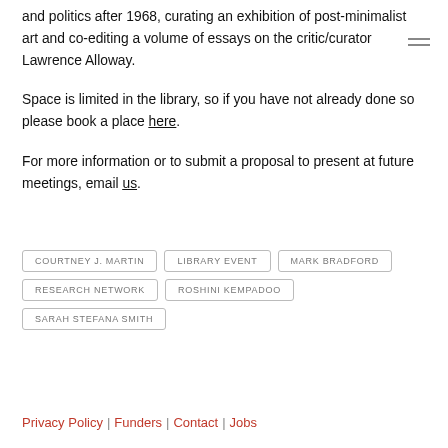and politics after 1968, curating an exhibition of post-minimalist art and co-editing a volume of essays on the critic/curator Lawrence Alloway.
Space is limited in the library, so if you have not already done so please book a place here.
For more information or to submit a proposal to present at future meetings, email us.
COURTNEY J. MARTIN
LIBRARY EVENT
MARK BRADFORD
RESEARCH NETWORK
ROSHINI KEMPADOO
SARAH STEFANA SMITH
Privacy Policy | Funders | Contact | Jobs